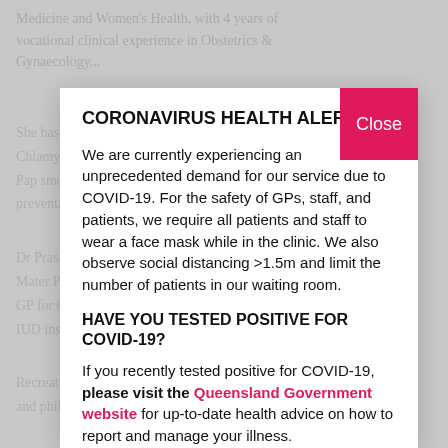Medicine and Women's Health, with 4 years of vocational clinical experience in Obstetrics & Gynaecology...
CORONAVIRUS HEALTH ALERT
We are currently experiencing an unprecedented demand for our service due to COVID-19. For the safety of GPs, staff, and patients, we require all patients and staff to wear a face mask while in the clinic. We also observe social distancing >1.5m and limit the number of patients in our waiting room.
HAVE YOU TESTED POSITIVE FOR COVID-19?
If you recently tested positive for COVID-19, please visit the Queensland Government website for up-to-date health advice on how to report and manage your illness.
ANTIVIRAL MEDICATION